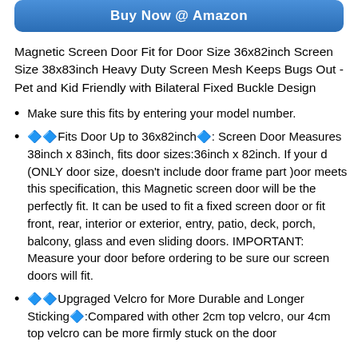[Figure (other): Blue 'Buy Now @ Amazon' button]
Magnetic Screen Door Fit for Door Size 36x82inch Screen Size 38x83inch Heavy Duty Screen Mesh Keeps Bugs Out - Pet and Kid Friendly with Bilateral Fixed Buckle Design
Make sure this fits by entering your model number.
🔷🔷Fits Door Up to 36x82inch🔷: Screen Door Measures 38inch x 83inch, fits door sizes:36inch x 82inch. If your d (ONLY door size, doesn't include door frame part )oor meets this specification, this Magnetic screen door will be the perfectly fit. It can be used to fit a fixed screen door or fit front, rear, interior or exterior, entry, patio, deck, porch, balcony, glass and even sliding doors. IMPORTANT: Measure your door before ordering to be sure our screen doors will fit.
🔷🔷Upgraged Velcro for More Durable and Longer Sticking🔷:Compared with other 2cm top velcro, our 4cm top velcro can be more firmly stuck on the door